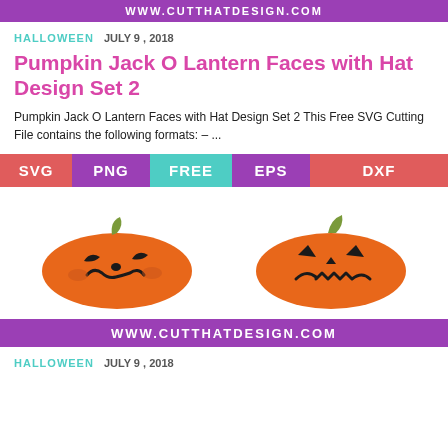WWW.CUTTHATDESIGN.COM
HALLOWEEN   JULY 9, 2018
Pumpkin Jack O Lantern Faces with Hat Design Set 2
Pumpkin Jack O Lantern Faces with Hat Design Set 2 This Free SVG Cutting File contains the following formats: – ...
[Figure (infographic): Badge bar showing file format labels: SVG, PNG, FREE, EPS, DXF on colored backgrounds]
[Figure (illustration): Two orange pumpkin jack-o-lantern SVG illustrations with black carved faces on white background]
WWW.CUTTHATDESIGN.COM
HALLOWEEN   JULY 9, 2018